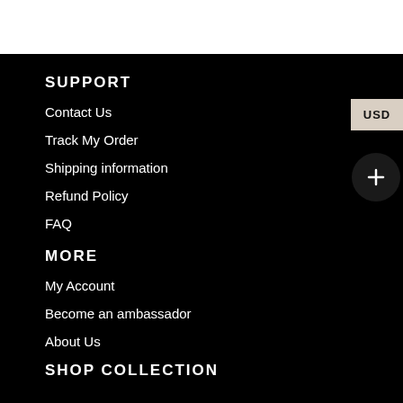SUPPORT
Contact Us
Track My Order
Shipping information
Refund Policy
FAQ
MORE
My Account
Become an ambassador
About Us
SHOP COLLECTION